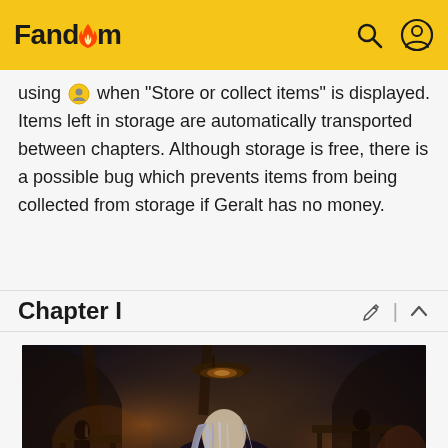Fandom
using [icon] when "Store or collect items" is displayed. Items left in storage are automatically transported between chapters. Although storage is free, there is a possible bug which prevents items from being collected from storage if Geralt has no money.
Chapter I
[Figure (photo): Screenshot from The Witcher game showing a tavern/inn interior scene with a character with long silver-white hair viewed from behind, warm candlelit atmosphere with wooden beams and various NPCs in background]